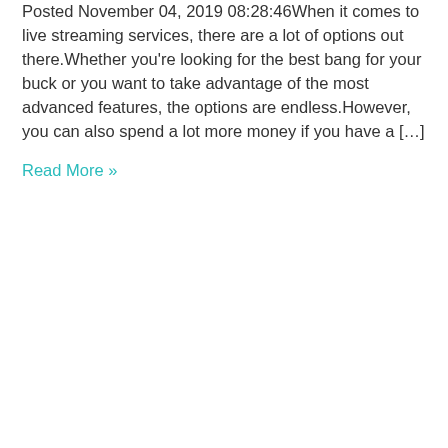Posted November 04, 2019 08:28:46When it comes to live streaming services, there are a lot of options out there.
Whether you're looking for the best bang for your buck or you want to take advantage of the most advanced features, the options are endless.However, you can also spend a lot more money if you have a […]
Read More »